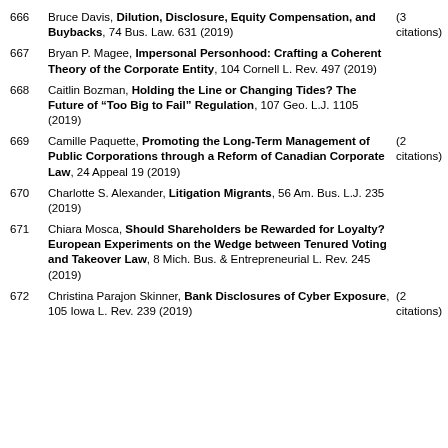666 Bruce Davis, Dilution, Disclosure, Equity Compensation, and Buybacks, 74 Bus. Law. 631 (2019) (3 citations)
667 Bryan P. Magee, Impersonal Personhood: Crafting a Coherent Theory of the Corporate Entity, 104 Cornell L. Rev. 497 (2019)
668 Caitlin Bozman, Holding the Line or Changing Tides? The Future of “Too Big to Fail” Regulation, 107 Geo. L.J. 1105 (2019)
669 Camille Paquette, Promoting the Long-Term Management of Public Corporations through a Reform of Canadian Corporate Law, 24 Appeal 19 (2019) (2 citations)
670 Charlotte S. Alexander, Litigation Migrants, 56 Am. Bus. L.J. 235 (2019)
671 Chiara Mosca, Should Shareholders be Rewarded for Loyalty? European Experiments on the Wedge between Tenured Voting and Takeover Law, 8 Mich. Bus. & Entrepreneurial L. Rev. 245 (2019)
672 Christina Parajon Skinner, Bank Disclosures of Cyber Exposure, 105 Iowa L. Rev. 239 (2019) (2 citations)